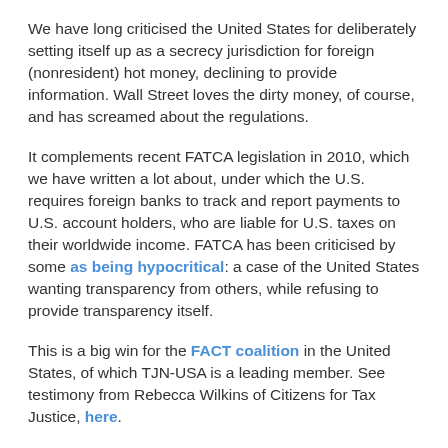We have long criticised the United States for deliberately setting itself up as a secrecy jurisdiction for foreign (nonresident) hot money, declining to provide information. Wall Street loves the dirty money, of course, and has screamed about the regulations.
It complements recent FATCA legislation in 2010, which we have written a lot about, under which the U.S. requires foreign banks to track and report payments to U.S. account holders, who are liable for U.S. taxes on their worldwide income. FATCA has been criticised by some as being hypocritical: a case of the United States wanting transparency from others, while refusing to provide transparency itself.
This is a big win for the FACT coalition in the United States, of which TJN-USA is a leading member. See testimony from Rebecca Wilkins of Citizens for Tax Justice, here.
America should not be a tax haven for international tax evaders. . . . we should not make it easier for the laws of other countries to be broken. . . There is a growing global consensus that responsible governments must cooperate